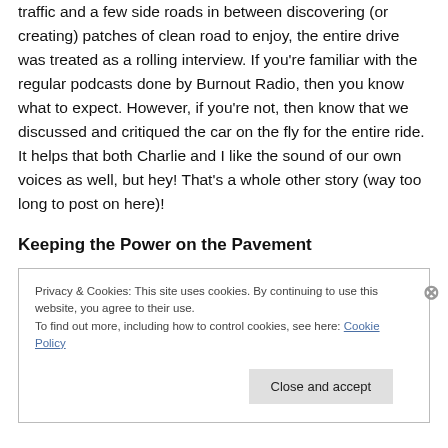traffic and a few side roads in between discovering (or creating) patches of clean road to enjoy, the entire drive was treated as a rolling interview. If you're familiar with the regular podcasts done by Burnout Radio, then you know what to expect. However, if you're not, then know that we discussed and critiqued the car on the fly for the entire ride. It helps that both Charlie and I like the sound of our own voices as well, but hey! That's a whole other story (way too long to post on here)!
Keeping the Power on the Pavement
Privacy & Cookies: This site uses cookies. By continuing to use this website, you agree to their use.
To find out more, including how to control cookies, see here: Cookie Policy
Close and accept